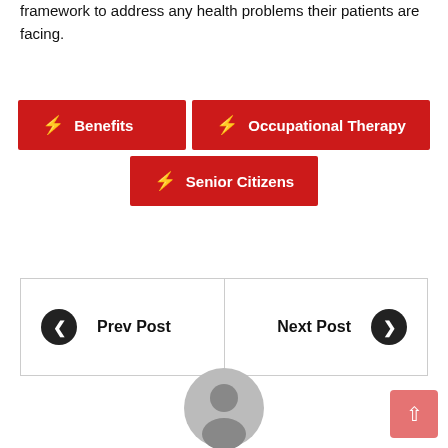framework to address any health problems their patients are facing.
Benefits
Occupational Therapy
Senior Citizens
Prev Post
Next Post
[Figure (illustration): User avatar placeholder — grey circle with person silhouette]